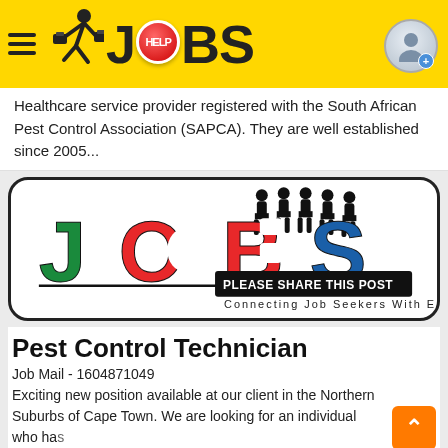JOBS - Help Jobs
Healthcare service provider registered with the South African Pest Control Association (SAPCA). They are well established since 2005...
[Figure (logo): JOBS South Africa logo with South African flag colors inside the letters J, O, B, S, silhouettes of people standing on top, 'PLEASE SHARE THIS POST' banner, and tagline 'Connecting Job Seekers With Employers']
Pest Control Technician
Job Mail - 1604871049
Exciting new position available at our client in the Northern Suburbs of Cape Town. We are looking for an individual who has excellent communication skills, high level of drive, excellent...